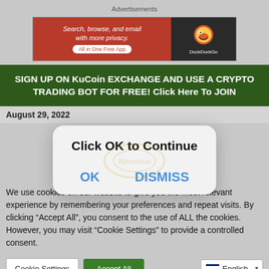Advertisements
[Figure (screenshot): DuckDuckGo advertisement banner: orange/red left side with text 'Search, browse, and email with more privacy. All in One Free App', dark right side with DuckDuckGo logo]
[Figure (screenshot): Green banner: SIGN UP ON KuCoin EXCHANGE AND USE A CRYPTO TRADING BOT FOR FREE! Click Here To JOIN]
August 29, 2022
[Figure (screenshot): Modal dialog with title 'Click OK to Continue', 9javenue watermark, and two buttons: OK and DISMISS]
We use cookies on our website to give you the most relevant experience by remembering your preferences and repeat visits. By clicking "Accept All", you consent to the use of ALL the cookies. However, you may visit "Cookie Settings" to provide a controlled consent.
Cookie Settings
Accept All
English